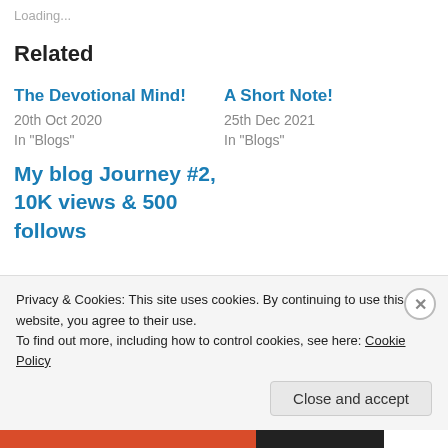Loading...
Related
The Devotional Mind!
20th Oct 2020
In "Blogs"
A Short Note!
25th Dec 2021
In "Blogs"
My blog Journey #2, 10K views & 500 follows
Privacy & Cookies: This site uses cookies. By continuing to use this website, you agree to their use.
To find out more, including how to control cookies, see here: Cookie Policy
Close and accept